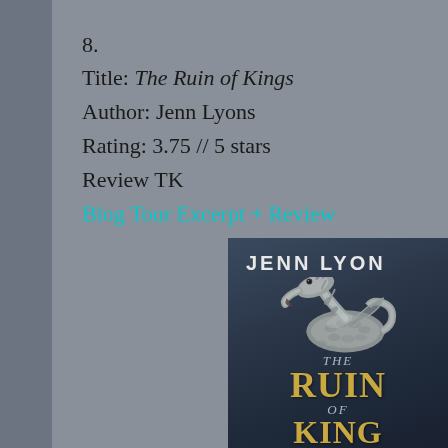8.
Title: The Ruin of Kings
Author: Jenn Lyons
Rating: 3.75 // 5 stars
Review TK
Blog Tour Excerpt + Review
[Figure (photo): Book cover of 'The Ruin of Kings' by Jenn Lyons, showing a metallic silver dragon sculpture against a dark blue-grey background, with the author name 'JENN LYONS' at the top and the title 'THE RUIN OF KINGS' in gold lettering at the bottom.]